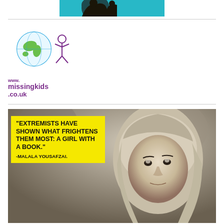[Figure (illustration): Top banner image with teal/cyan background and dark silhouette figures]
[Figure (logo): MissingKids.co.uk logo with globe and child figure, purple text reading www.missingkids.co.uk]
[Figure (photo): Black and white photograph of Malala Yousafzai wearing a headscarf, overlaid with a yellow quote box reading: EXTREMISTS HAVE SHOWN WHAT FRIGHTENS THEM MOST: A GIRL WITH A BOOK. -MALALA YOUSAFZAI.]